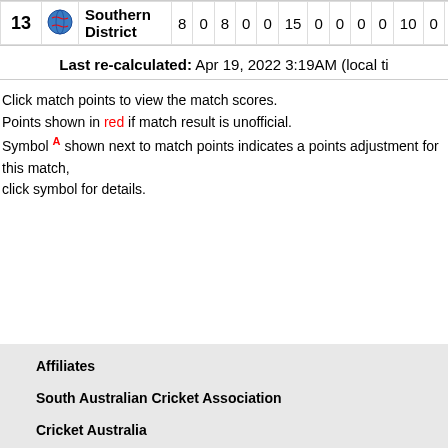| # | Logo | Team | Col1 | Col2 | Col3 | Col4 | Col5 | Col6 | Col7 | Col8 | Col9 | Col10 | Col11 | Col12 | Col13 |
| --- | --- | --- | --- | --- | --- | --- | --- | --- | --- | --- | --- | --- | --- | --- | --- |
| 13 |  | Southern District | 8 | 0 | 8 | 0 | 0 | 15 | 0 | 0 | 0 | 0 | 10 | 0 | 0 |
Last re-calculated: Apr 19, 2022 3:19AM (local ti
Click match points to view the match scores. Points shown in red if match result is unofficial. Symbol A shown next to match points indicates a points adjustment for this match, click symbol for details.
Affiliates
South Australian Cricket Association
Cricket Australia